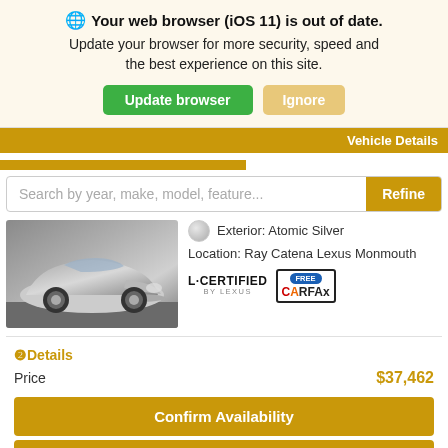🌐 Your web browser (iOS 11) is out of date. Update your browser for more security, speed and the best experience on this site.
Update browser | Ignore
Vehicle Details
Search by year, make, model, feature...
Refine
[Figure (photo): Silver Lexus sedan, front 3/4 view]
Exterior: Atomic Silver
Location: Ray Catena Lexus Monmouth
[Figure (logo): L/CERTIFIED BY LEXUS logo]
[Figure (logo): FREE CARFAX logo]
❷Details
Price
$37,462
Confirm Availability
Vehicle Details